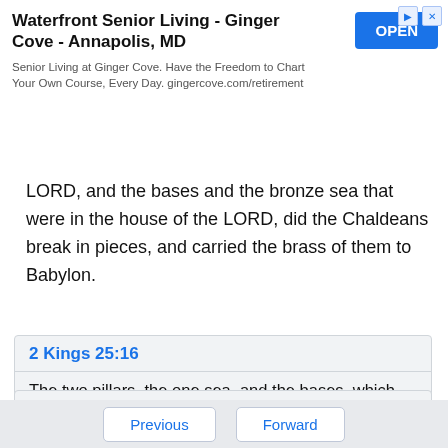[Figure (other): Advertisement banner: Waterfront Senior Living - Ginger Cove - Annapolis, MD. Senior Living at Ginger Cove. Have the Freedom to Chart Your Own Course, Every Day. gingercove.com/retirement. Blue OPEN button.]
LORD, and the bases and the bronze sea that were in the house of the LORD, did the Chaldeans break in pieces, and carried the brass of them to Babylon.
2 Kings 25:16
The two pillars, the one sea, and the bases, which Solomon had made for the house of the LORD, the brass of all these vessels was without weight.
Previous   Forward